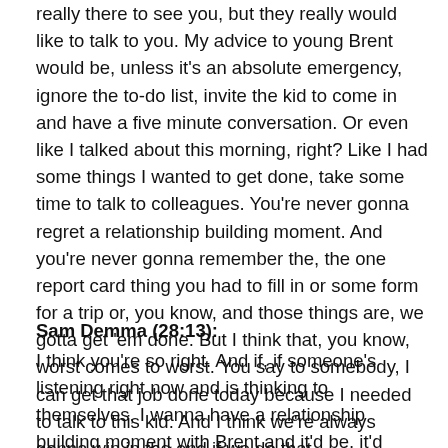really there to see you, but they really would like to talk to you. My advice to young Brent would be, unless it's an absolute emergency, ignore the to-do list, invite the kid to come in and have a five minute conversation. Or even like I talked about this morning, right? Like I had some things I wanted to get done, take some time to talk to colleagues. You're never gonna regret a relationship building moment. And you're never gonna remember the, the one report card thing you had to fill in or some form for a trip or, you know, and those things are, we gotta get 'em done. But I think that, you know, worst comes to worst. You say to somebody, I can get that job done today because I needed to talk to this kid. And I think we're always gonna win in the end if we do that.
Sam Demma (28:13): I think you're so right. And if, if someone's listening right now and is thinking to themselves, I wanna have a relationship building moment with Brent and it'd be, it'd